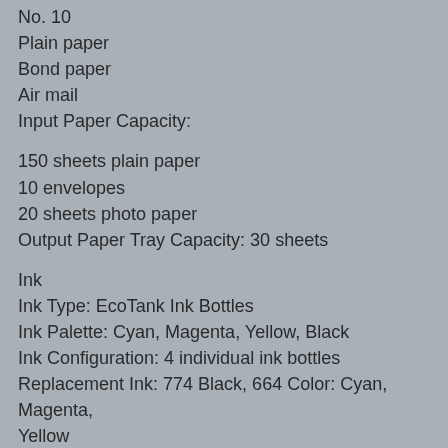No. 10
Plain paper
Bond paper
Air mail
Input Paper Capacity:
150 sheets plain paper
10 envelopes
20 sheets photo paper
Output Paper Tray Capacity: 30 sheets
Ink
Ink Type: EcoTank Ink Bottles
Ink Palette: Cyan, Magenta, Yellow, Black
Ink Configuration: 4 individual ink bottles
Replacement Ink: 774 Black, 664 Color: Cyan, Magenta, Yellow
(ISO Yield, Epson Methodology - Black: 6,000, Color: 6,500)
Connectivity
Standard Connectivity:
Hi-Speed USB (compatible with USB 2.0 specification)